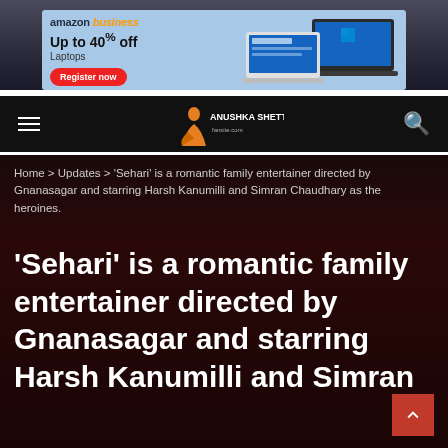[Figure (screenshot): Amazon Business advertisement banner with blue background showing laptops, text 'Up to 40% off Laptops', Register now button]
[Figure (logo): Website navigation bar with Anushka Shetty fan site logo, hamburger menu icon on left, search icon on right]
Home > Updates > 'Sehari' is a romantic family entertainer directed by Gnanasagar and starring Harsh Kanumilli and Simran Chaudhary as the heroines.
'Sehari' is a romantic family entertainer directed by Gnanasagar and starring Harsh Kanumilli and Simran Chaudhary as the heroines.